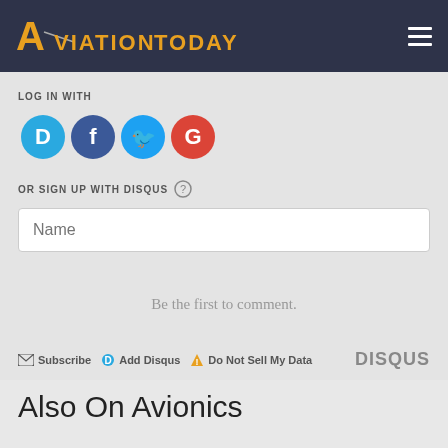Aviation Today
LOG IN WITH
[Figure (infographic): Four social login buttons: Disqus (blue), Facebook (dark blue), Twitter (light blue), Google (red)]
OR SIGN UP WITH DISQUS ?
Name
Be the first to comment.
Subscribe  Add Disqus  Do Not Sell My Data  DISQUS
Also On Avionics